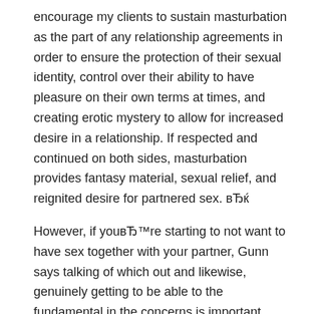encourage my clients to sustain masturbation as the part of any relationship agreements in order to ensure the protection of their sexual identity, control over their ability to have pleasure on their own terms at times, and creating erotic mystery to allow for increased desire in a relationship. If respected and continued on both sides, masturbation provides fantasy material, sexual relief, and reignited desire for partnered sex. вЂќ
However, if youвЂ™re starting to not want to have sex together with your partner, Gunn says talking of which out and likewise, genuinely getting to be able to the fundamental in the concerns is important. вЂњClients together together with relationship strain, differences in libido or perhaps perhaps desire away from their spouse, or perhaps challenges together together with depression, trauma, anxiety or obsessive fanatical disorder may boost masturbation being a new dealing tool, вЂќ the lady claims. вЂњIn these sorts of cases typically the prospective harm